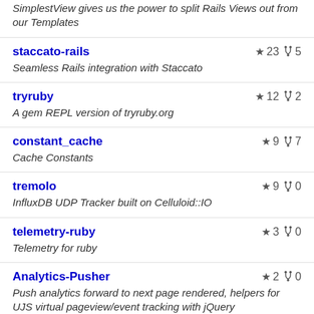SimplestView gives us the power to split Rails Views out from our Templates
staccato-rails ★ 23 ⑂ 5 — Seamless Rails integration with Staccato
tryruby ★ 12 ⑂ 2 — A gem REPL version of tryruby.org
constant_cache ★ 9 ⑂ 7 — Cache Constants
tremolo ★ 9 ⑂ 0 — InfluxDB UDP Tracker built on Celluloid::IO
telemetry-ruby ★ 3 ⑂ 0 — Telemetry for ruby
Analytics-Pusher ★ 2 ⑂ 0 — Push analytics forward to next page rendered, helpers for UJS virtual pageview/event tracking with jQuery
net-simple ★ 2 ⑂ 0 — Simple wrapper around net-ssh and net-scp